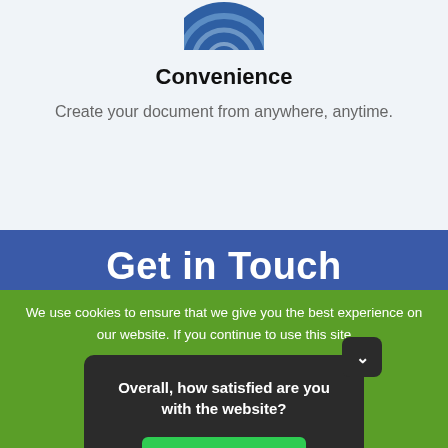[Figure (illustration): Partial blue circular icon visible at top, cropped]
Convenience
Create your document from anywhere, anytime.
Get in Touch
We use cookies to ensure that we give you the best experience on our website. If you continue to use this site
Overall, how satisfied are you with the website?
Reply